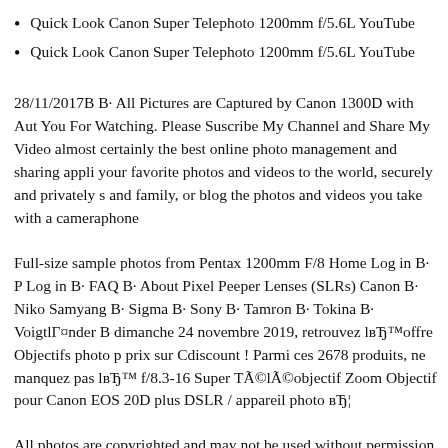Quick Look Canon Super Telephoto 1200mm f/5.6L YouTube
Quick Look Canon Super Telephoto 1200mm f/5.6L YouTube
28/11/2017B B· All Pictures are Captured by Canon 1300D with Aut You For Watching. Please Suscribe My Channel and Share My Video almost certainly the best online photo management and sharing appli your favorite photos and videos to the world, securely and privately s and family, or blog the photos and videos you take with a cameraphone
Full-size sample photos from Pentax 1200mm F/8 Home Log in B· P Log in B· FAQ B· About Pixel Peeper Lenses (SLRs) Canon B· Niko Samyang B· Sigma B· Sony B· Tamron B· Tokina B· VoigtlΓ¤nder B dimanche 24 novembre 2019, retrouvez lвЂ™offre Objectifs photo p prix sur Cdiscount ! Parmi ces 2678 produits, ne manquez pas lвЂ™ f/8.3-16 Super ТÃ©lÃ©objectif Zoom Objectif pour Canon EOS 20D plus DSLR / appareil photo вЂ¦
All photos are copyrighted and may not be used without permission f photos are are a guide to what these cameras are capable of, but may